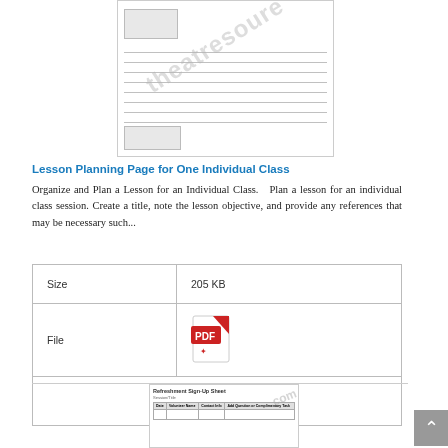[Figure (illustration): Preview thumbnail of a lined lesson planning page with watermark overlay]
Lesson Planning Page for One Individual Class
Organize and Plan a Lesson for an Individual Class.   Plan a lesson for an individual class session. Create a title, note the lesson objective, and provide any references that may be necessary such...
| Size | 205 KB |
| File | [PDF icon] |
| Register For Access |  |
[Figure (illustration): Preview thumbnail of Refreshment Sign-Up Sheet with watermark]